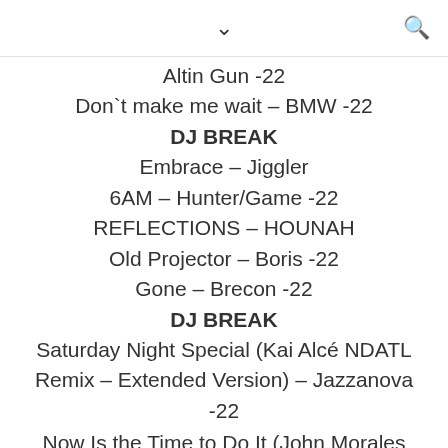↓  🔍
Altin Gun -22
Don't make me wait  – BMW -22
DJ BREAK
Embrace  – Jiggler
6AM –  Hunter/Game -22
REFLECTIONS  – HOUNAH
Old Projector  – Boris -22
Gone  – Brecon -22
DJ BREAK
Saturday Night Special (Kai Alcé NDATL Remix – Extended Version)  – Jazzanova -22
Now Is the Time to Do It (John Morales M + M Mix)  – Teddy Pendergrass -22
Star City –  Solomon Fesshaye -22
Thinkin Bout You  – Ah-Mer-Ah-Su -22